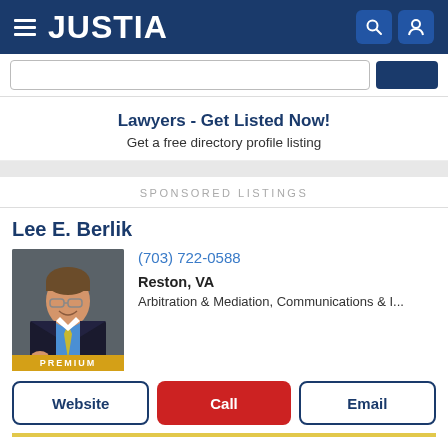JUSTIA
Lawyers - Get Listed Now!
Get a free directory profile listing
SPONSORED LISTINGS
Lee E. Berlik
(703) 722-0588
Reston, VA
Arbitration & Mediation, Communications & I...
Website  Call  Email